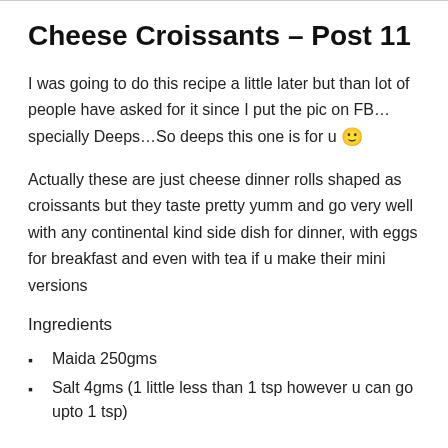Cheese Croissants – Post 11
I was going to do this recipe a little later but than lot of people have asked for it since I put the pic on FB…specially Deeps…So deeps this one is for u 🙂
Actually these are just cheese dinner rolls shaped as croissants but they taste pretty yumm and go very well with any continental kind side dish for dinner, with eggs for breakfast and even with tea if u make their mini versions
Ingredients
Maida 250gms
Salt 4gms (1 little less than 1 tsp however u can go upto 1 tsp)